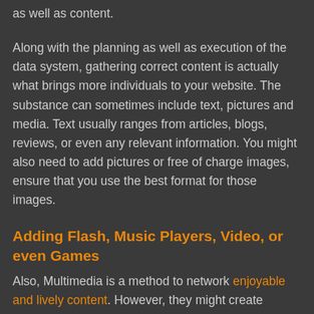as well as content.
Along with the planning as well as execution of the data system, gathering correct content is actually what brings more individuals to your website. The substance can sometimes include text, pictures and media. Text usually ranges from articles, blogs, reviews, or even any relevant information. You might also need to add pictures or free of charge images, ensure that you use the best format for those images.
Adding Flash, Music Players, Video, or even Games
Also, Multimedia is a method to network enjoyable and lively content. However, they might create damaging impact with the addition of gratuitous movies. Before